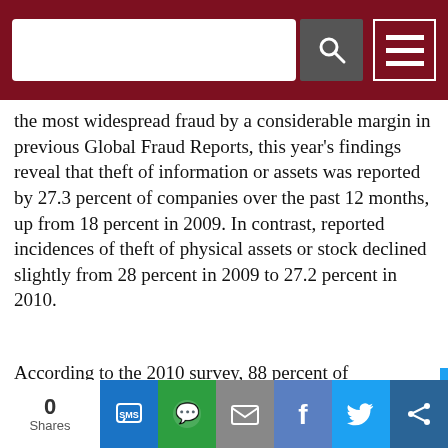[Figure (screenshot): Dark red header bar with search input box, search icon button, and hamburger menu icon]
[Figure (screenshot): Dark banner with social media icons (Facebook, Twitter, LinkedIn) and URL securitytoday.com/live]
the most widespread fraud by a considerable margin in previous Global Fraud Reports, this year's findings reveal that theft of information or assets was reported by 27.3 percent of companies over the past 12 months, up from 18 percent in 2009. In contrast, reported incidences of theft of physical assets or stock declined slightly from 28 percent in 2009 to 27.2 percent in 2010.
According to the 2010 survey, 88 percent of companies said they had been the victim of at least one type of fraud in the last year. 61 percent of those...
[Figure (screenshot): Social share bar at bottom: 0 Shares, SMS button, WhatsApp button, Email button, Facebook button, Twitter button, Share button]